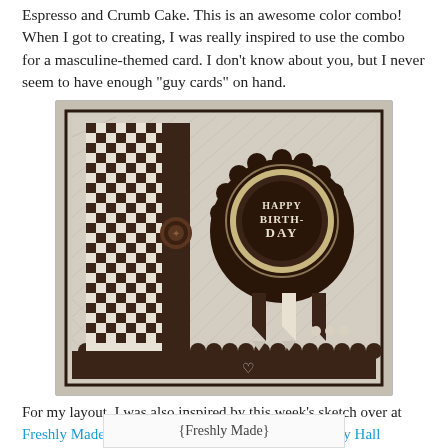Espresso and Crumb Cake. This is an awesome color combo! When I got to creating, I was really inspired to use the combo for a masculine-themed card. I don't know about you, but I never seem to have enough "guy cards" on hand.
[Figure (photo): A handmade masculine birthday card featuring houndstooth patterned paper in brown and cream, a dark brown ribbon strip, a scalloped rosette badge with 'HAPPY BIRTH DAY' text, and a button embellishment, all on a tan textured background.]
For my layout, I was also inspired by this week's sketch over at Freshly Made Sketches. The lovely and talented Cindy Hall created this sketch and I was fortunate enough to finally meet her "in-person" at Convention last week. Hooray! :) Scroll down for some fun photos from Convention, that I just posted last night.
{Freshly Made}